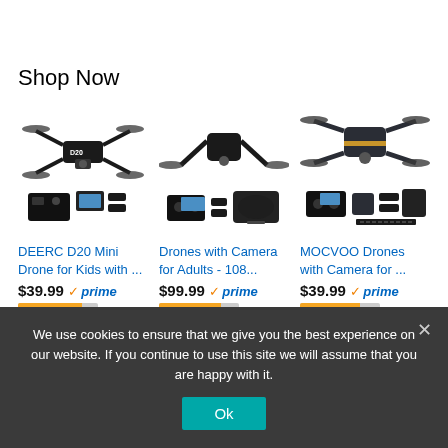Shop Now
[Figure (photo): DEERC D20 Mini Drone product image showing drone with camera, controller, and accessories]
DEERC D20 Mini Drone for Kids with ...
$39.99 ✓prime
[Figure (photo): Drones with Camera for Adults product image showing foldable drone with controller and case]
Drones with Camera for Adults - 108...
$99.99 ✓prime
[Figure (photo): MOCVOO Drones with Camera product image showing foldable drone with controller and accessories]
MOCVOO Drones with Camera for ...
$39.99 ✓prime
We use cookies to ensure that we give you the best experience on our website. If you continue to use this site we will assume that you are happy with it.